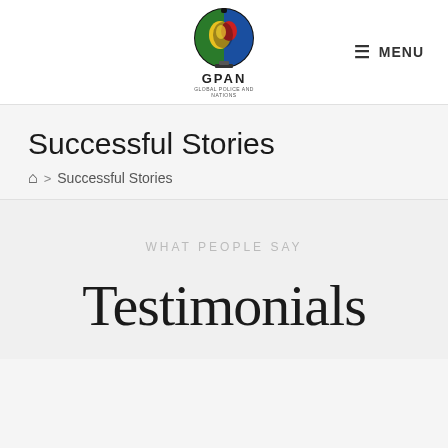[Figure (logo): GPAN circular logo with colorful face design and text GPAN below]
☰ MENU
Successful Stories
🏠 > Successful Stories
WHAT PEOPLE SAY
Testimonials